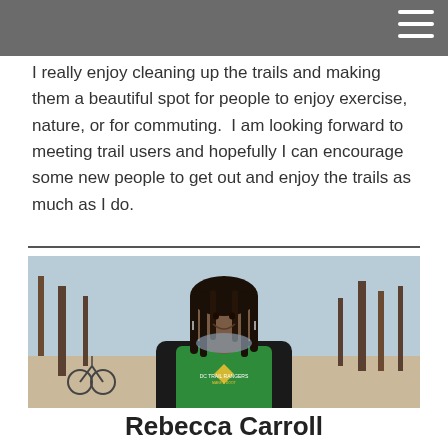I really enjoy cleaning up the trails and making them a beautiful spot for people to enjoy exercise, nature, or for commuting.  I am looking forward to meeting trail users and hopefully I can encourage some new people to get out and enjoy the trails as much as I do.
[Figure (photo): A smiling woman with long dreadlocks wearing a green DC Trail Rangers shirt and a black jacket, standing outdoors on a trail path with bare trees and a bicycle visible in the background.]
Rebecca Carroll